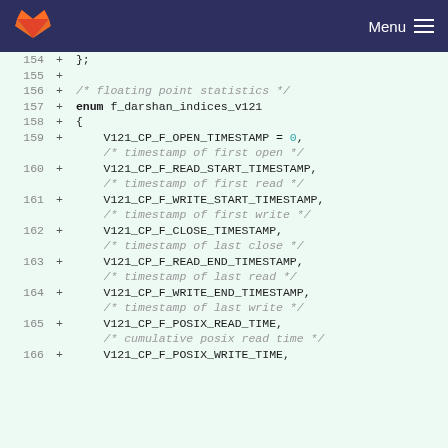Menu
[Figure (screenshot): GitLab logo (fox/wolf head in orange and red) in the top navigation bar]
Code diff view showing lines 154-166 of a C source file with enum f_darshan_indices_v121 definition including floating point statistics fields: V121_CP_F_OPEN_TIMESTAMP, V121_CP_F_READ_START_TIMESTAMP, V121_CP_F_WRITE_START_TIMESTAMP, V121_CP_F_CLOSE_TIMESTAMP, V121_CP_F_READ_END_TIMESTAMP, V121_CP_F_WRITE_END_TIMESTAMP, V121_CP_F_POSIX_READ_TIME, V121_CP_F_POSIX_WRITE_TIME